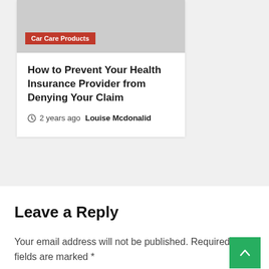[Figure (other): Gray image placeholder for a car care products article card]
Car Care Products
How to Prevent Your Health Insurance Provider from Denying Your Claim
2 years ago  Louise Mcdonalid
Leave a Reply
Your email address will not be published. Required fields are marked *